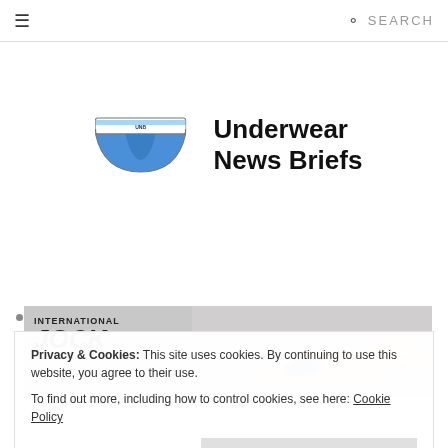≡  SEARCH
[Figure (logo): Underwear News Briefs logo — illustrated blue briefs with 'UNB' label next to bold text 'Underwear News Briefs']
[Figure (illustration): International Jock underwear advertisement banner showing the brand name and a model]
Privacy & Cookies: This site uses cookies. By continuing to use this website, you agree to their use.
To find out more, including how to control cookies, see here: Cookie Policy
Close and accept